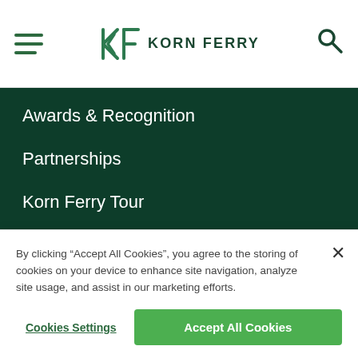Korn Ferry
Awards & Recognition
Partnerships
Korn Ferry Tour
Leadership Team
Corporate Responsibility
By clicking “Accept All Cookies”, you agree to the storing of cookies on your device to enhance site navigation, analyze site usage, and assist in our marketing efforts.
Cookies Settings | Accept All Cookies